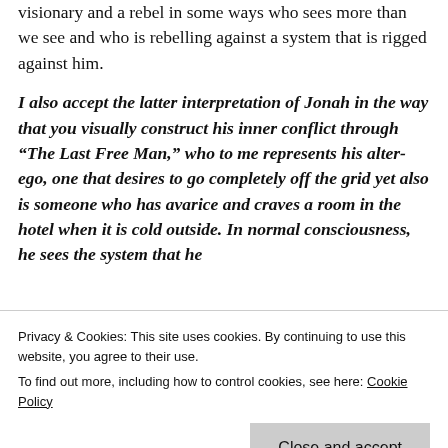visionary and a rebel in some ways who sees more than we see and who is rebelling against a system that is rigged against him.
I also accept the latter interpretation of Jonah in the way that you visually construct his inner conflict through “The Last Free Man,” who to me represents his alter-ego, one that desires to go completely off the grid yet also is someone who has avarice and craves a room in the hotel when it is cold outside. In normal consciousness, he sees the system that he
Privacy & Cookies: This site uses cookies. By continuing to use this website, you agree to their use.
To find out more, including how to control cookies, see here: Cookie Policy
terms of improvisation, is that given the